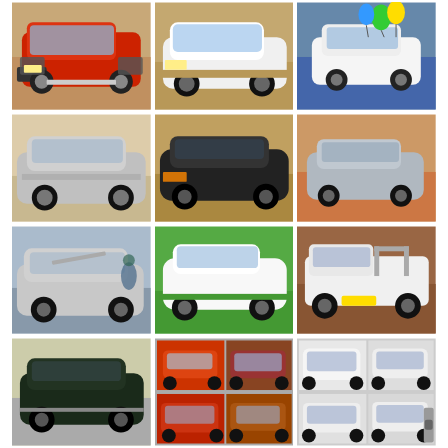[Figure (photo): Red SUV/4x4 vehicle with bull bar, parked outdoors in sandy/dusty area]
[Figure (photo): White VW Golf with black alloy wheels, parked on dirt road]
[Figure (photo): White Chevrolet Spark decorated with blue/yellow balloons and ribbons]
[Figure (photo): Silver sedan car, older model, parked on paved area]
[Figure (photo): Black VW Audi-style sedan, low profile, parked on dirt]
[Figure (photo): Silver/grey hatchback small car parked on brick paving]
[Figure (photo): Silver VW Golf with hood open, person nearby, outdoor setting]
[Figure (photo): White VW Polo hatchback parked on green grass area]
[Figure (photo): White vintage pickup truck/bakkie with bull bar and yellow number plate]
[Figure (photo): Dark green/black sedan car parked next to wall/fence]
[Figure (photo): Collage of two red/maroon cars - small hatchbacks]
[Figure (photo): Collage of white VW Polo shown from multiple angles]